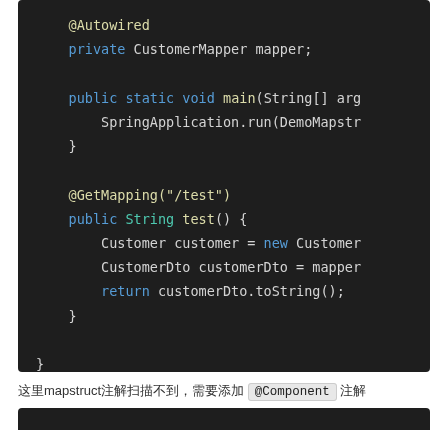[Figure (screenshot): Code block showing Java code with @Autowired, private CustomerMapper mapper, public static void main method, @GetMapping('/test'), public String test() method with Customer, CustomerDto, and return statement]
这里mapstruct注解扫描不到，需要添加 @Component 注解